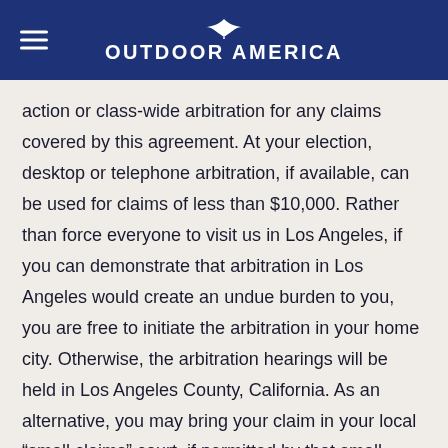OUTDOOR AMERICA
action or class-wide arbitration for any claims covered by this agreement. At your election, desktop or telephone arbitration, if available, can be used for claims of less than $10,000. Rather than force everyone to visit us in Los Angeles, if you can demonstrate that arbitration in Los Angeles would create an undue burden to you, you are free to initiate the arbitration in your home city. Otherwise, the arbitration hearings will be held in Los Angeles County, California. As an alternative, you may bring your claim in your local “small claims” court, if permitted by that small claims court’s rules. You may bring claims only